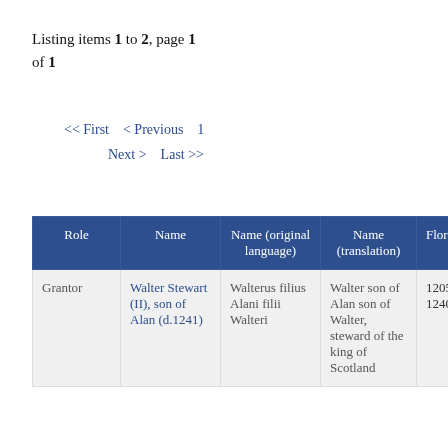Listing items 1 to 2, page 1 of 1
<< First  < Previous  1  Next >  Last >>
| Role | Name | Name (original language) | Name (translation) | Floruits |
| --- | --- | --- | --- | --- |
| Grantor | Walter Stewart (II), son of Alan (d.1241) | Walterus filius Alani filii Walteri | Walter son of Alan son of Walter, steward of the king of Scotland | 1205 × 1240 |